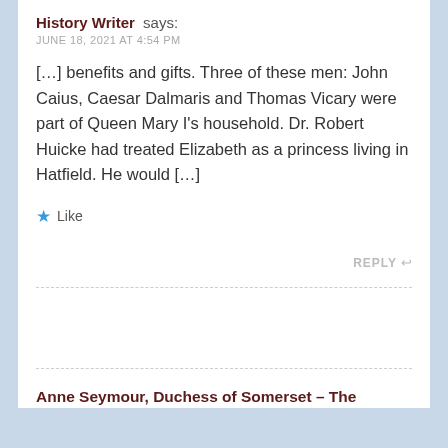History Writer says:
JUNE 18, 2021 AT 4:54 PM
[…] benefits and gifts. Three of these men: John Caius, Caesar Dalmaris and Thomas Vicary were part of Queen Mary I's household. Dr. Robert Huicke had treated Elizabeth as a princess living in Hatfield. He would […]
★ Like
REPLY ↩
Anne Seymour, Duchess of Somerset – The